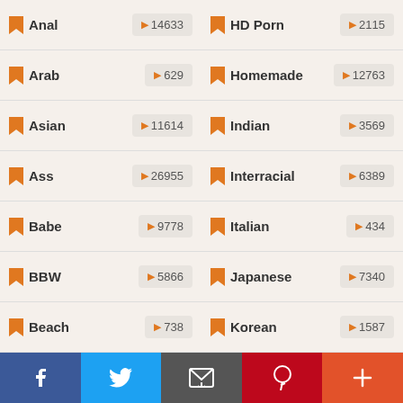Anal ▶14633
Arab ▶629
Asian ▶11614
Ass ▶26955
Babe ▶9778
BBW ▶5866
Beach ▶738
Big Dick ▶20355
HD Porn ▶2115
Homemade ▶12763
Indian ▶3569
Interracial ▶6389
Italian ▶434
Japanese ▶7340
Korean ▶1587
Latina ▶13844